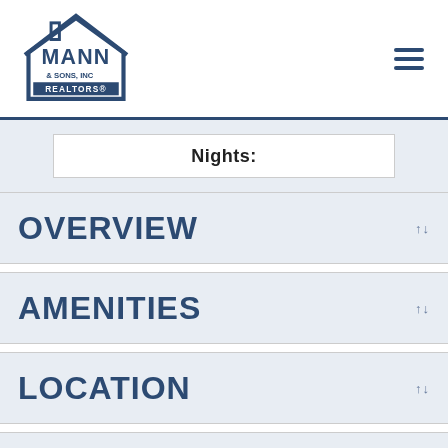Mann & Sons, Inc Realtors logo and navigation
Nights:
OVERVIEW
AMENITIES
LOCATION
PRICES